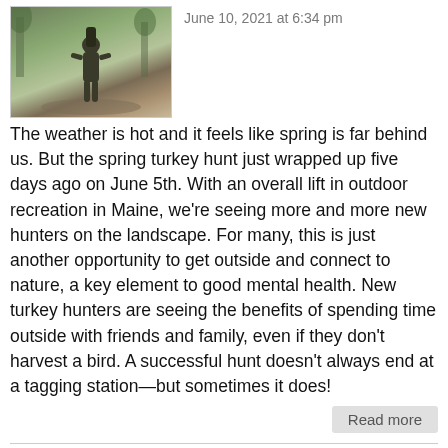[Figure (photo): Hunter walking on a wooded path, viewed from behind, camouflage clothing]
June 10, 2021 at 6:34 pm
The weather is hot and it feels like spring is far behind us. But the spring turkey hunt just wrapped up five days ago on June 5th. With an overall lift in outdoor recreation in Maine, we’re seeing more and more new hunters on the landscape. For many, this is just another opportunity to get outside and connect to nature, a key element to good mental health. New turkey hunters are seeing the benefits of spending time outside with friends and family, even if they don’t harvest a bird. A successful hunt doesn't always end at a tagging station—but sometimes it does!
Read more
[Figure (photo): Tree branches with leaves against a bright sky, outdoor nature scene]
Turkey Hunting: The Shot and Next Steps